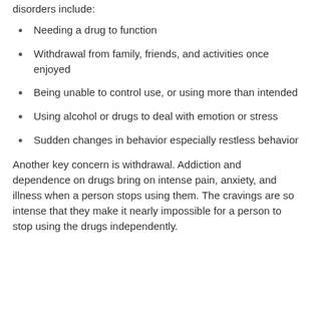disorders include:
Needing a drug to function
Withdrawal from family, friends, and activities once enjoyed
Being unable to control use, or using more than intended
Using alcohol or drugs to deal with emotion or stress
Sudden changes in behavior especially restless behavior
Another key concern is withdrawal. Addiction and dependence on drugs bring on intense pain, anxiety, and illness when a person stops using them. The cravings are so intense that they make it nearly impossible for a person to stop using the drugs independently.